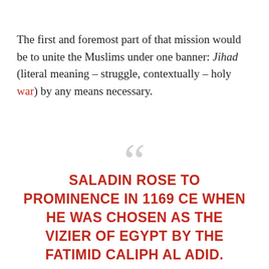The first and foremost part of that mission would be to unite the Muslims under one banner: Jihad (literal meaning – struggle, contextually – holy war) by any means necessary.
SALADIN ROSE TO PROMINENCE IN 1169 CE WHEN HE WAS CHOSEN AS THE VIZIER OF EGYPT BY THE FATIMID CALIPH AL ADID.